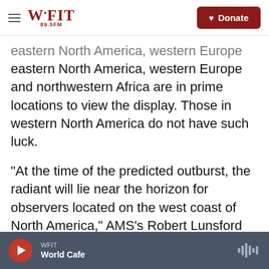WFIT 89.5FM | Donate
eastern North America, western Europe and northwestern Africa are in prime locations to view the display. Those in western North America do not have such luck.
"At the time of the predicted outburst, the radiant will lie near the horizon for observers located on the west coast of North America," AMS's Robert Lunsford wrote. "From that location only a few long earthgrazers may be seen shooting upward from the eastern horizon."
The Alpha Monocerotids showers — named after
WFIT | World Cafe